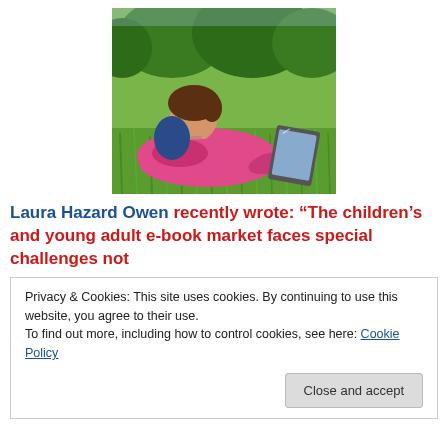[Figure (photo): A young girl in a pink hoodie lying in green grass, reading from a tablet device. Trees are visible in the background.]
Laura Hazard Owen recently wrote: “The children’s and young adult e-book market faces special challenges not
Privacy & Cookies: This site uses cookies. By continuing to use this website, you agree to their use.
To find out more, including how to control cookies, see here: Cookie Policy
Close and accept